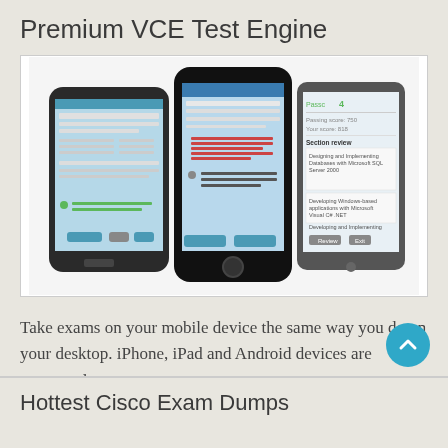Premium VCE Test Engine
[Figure (photo): Three smartphones (Android and iPhone) showing a VCE test engine app with exam questions and answer choices on their screens.]
Take exams on your mobile device the same way you do on your desktop. iPhone, iPad and Android devices are supported.
Hottest Cisco Exam Dumps